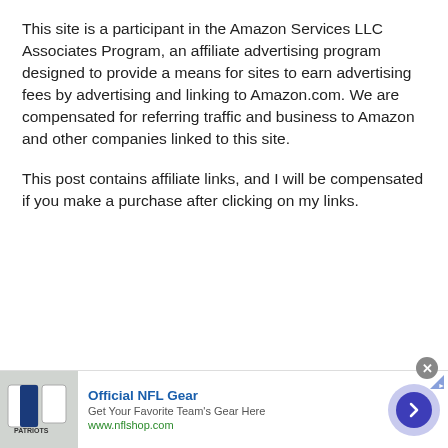This site is a participant in the Amazon Services LLC Associates Program, an affiliate advertising program designed to provide a means for sites to earn advertising fees by advertising and linking to Amazon.com. We are compensated for referring traffic and business to Amazon and other companies linked to this site.
This post contains affiliate links, and I will be compensated if you make a purchase after clicking on my links.
[Figure (other): Advertisement banner for Official NFL Gear showing a Patriots jersey image on the left, text 'Official NFL Gear / Get Your Favorite Team's Gear Here / www.nflshop.com' in the center, and a blue circular arrow button on the right. A close (X) button appears at the top right of the ad bar.]